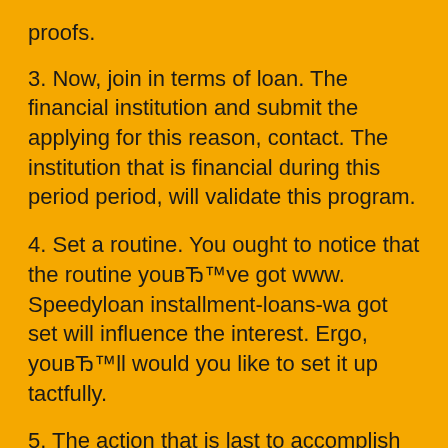proofs.
3. Now, join in terms of loan. The financial institution and submit the applying for this reason, contact. The institution that is financial during this period period, will validate this program.
4. Set a routine. You ought to notice that the routine youвЂ™ve got www. Speedyloan installment-loans-wa got set will influence the interest. Ergo, youвЂ™ll would you like to set it up tactfully.
5. The action that is last to accomplish the documents and signal the agreement.
There youвЂ™ve got it! By using this easy procedure, now you can grab your self an approval